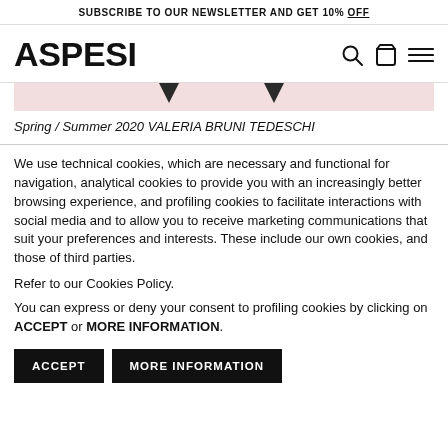SUBSCRIBE TO OUR NEWSLETTER AND GET 10% OFF
ASPESI
[Figure (screenshot): Pink banner with two dark triangular shapes, partial view of a fashion campaign image]
Spring / Summer 2020 VALERIA BRUNI TEDESCHI
We use technical cookies, which are necessary and functional for navigation, analytical cookies to provide you with an increasingly better browsing experience, and profiling cookies to facilitate interactions with social media and to allow you to receive marketing communications that suit your preferences and interests. These include our own cookies, and those of third parties.
Refer to our Cookies Policy.
You can express or deny your consent to profiling cookies by clicking on ACCEPT or MORE INFORMATION.
ACCEPT  MORE INFORMATION